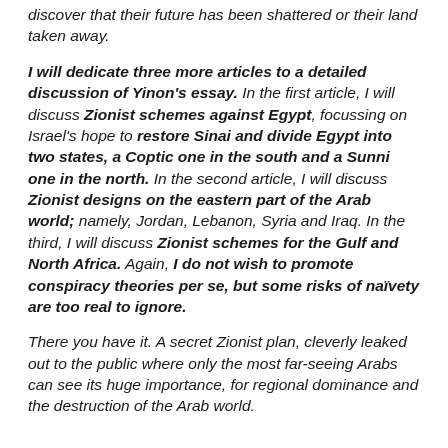discover that their future has been shattered or their land taken away.
I will dedicate three more articles to a detailed discussion of Yinon's essay. In the first article, I will discuss Zionist schemes against Egypt, focussing on Israel's hope to restore Sinai and divide Egypt into two states, a Coptic one in the south and a Sunni one in the north. In the second article, I will discuss Zionist designs on the eastern part of the Arab world; namely, Jordan, Lebanon, Syria and Iraq. In the third, I will discuss Zionist schemes for the Gulf and North Africa. Again, I do not wish to promote conspiracy theories per se, but some risks of naïvety are too real to ignore.
There you have it. A secret Zionist plan, cleverly leaked out to the public where only the most far-seeing Arabs can see its huge importance, for regional dominance and the destruction of the Arab world.